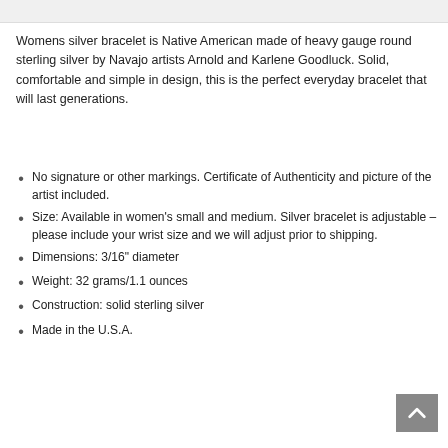Womens silver bracelet is Native American made of heavy gauge round sterling silver by Navajo artists Arnold and Karlene Goodluck.  Solid, comfortable and simple in design, this is the perfect everyday bracelet that will last generations.
No signature or other markings.  Certificate of Authenticity and picture of the artist included.
Size: Available in women's small and medium.  Silver bracelet is adjustable – please include your wrist size and we will adjust prior to shipping.
Dimensions: 3/16" diameter
Weight: 32 grams/1.1 ounces
Construction: solid sterling silver
Made in the U.S.A.